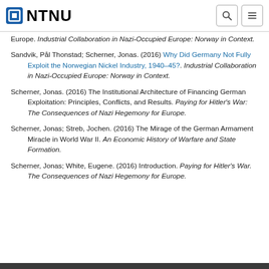NTNU
Europe. Industrial Collaboration in Nazi-Occupied Europe: Norway in Context.
Sandvik, Pål Thonstad; Scherner, Jonas. (2016) Why Did Germany Not Fully Exploit the Norwegian Nickel Industry, 1940–45?. Industrial Collaboration in Nazi-Occupied Europe: Norway in Context.
Scherner, Jonas. (2016) The Institutional Architecture of Financing German Exploitation: Principles, Conflicts, and Results. Paying for Hitler's War: The Consequences of Nazi Hegemony for Europe.
Scherner, Jonas; Streb, Jochen. (2016) The Mirage of the German Armament Miracle in World War II. An Economic History of Warfare and State Formation.
Scherner, Jonas; White, Eugene. (2016) Introduction. Paying for Hitler's War. The Consequences of Nazi Hegemony for Europe.